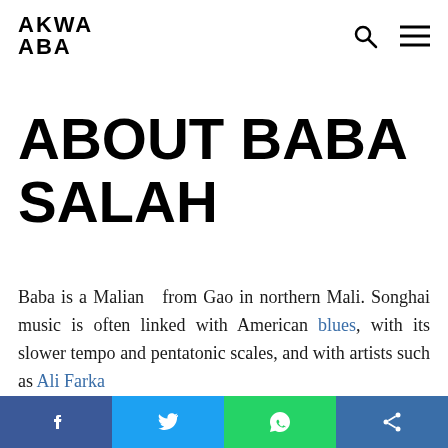AKWA ABA
ABOUT BABA SALAH
Baba is a Malian  from Gao in northern Mali. Songhai music is often linked with American blues, with its slower tempo and pentatonic scales, and with artists such as Ali Farka
Social share bar: Facebook, Twitter, WhatsApp, Share